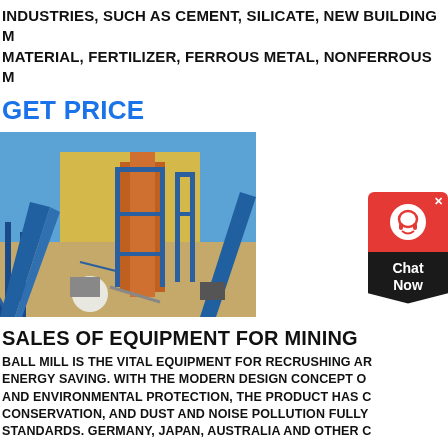INDUSTRIES, SUCH AS CEMENT, SILICATE, NEW BUILDING MATERIAL, FERTILIZER, FERROUS METAL, NONFERROUS M
GET PRICE
[Figure (photo): Industrial mining equipment facility with blue conveyor structures and orange machinery against a yellow building and blue sky]
[Figure (other): Chat Now widget with red background, headset icon, and dark pentagon-shaped Chat Now label]
SALES OF EQUIPMENT FOR MINING
BALL MILL IS THE VITAL EQUIPMENT FOR RECRUSHING AND ENERGY SAVING. WITH THE MODERN DESIGN CONCEPT OF AND ENVIRONMENTAL PROTECTION, THE PRODUCT HAS C CONSERVATION, AND DUST AND NOISE POLLUTION FULLY STANDARDS. GERMANY, JAPAN, AUSTRALIA AND OTHER C
GET PRICE